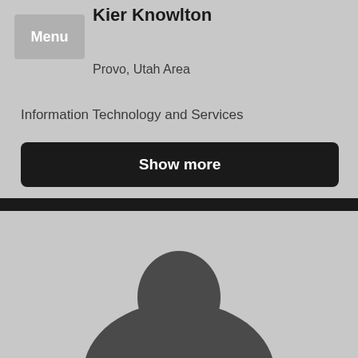Kier Knowlton
Provo, Utah Area
Information Technology and Services
Show more
[Figure (illustration): Profile silhouette placeholder image showing a generic person outline in dark gray against a light gray background]